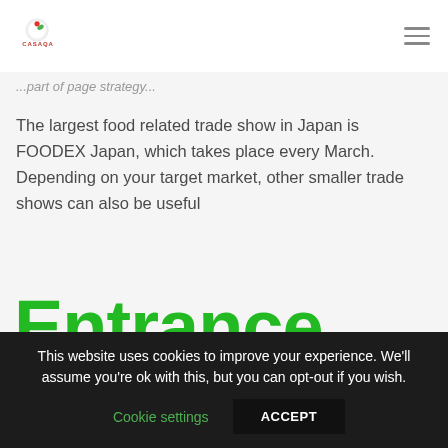CASAQA logo and hamburger menu
...part of page strategy...
The largest food related trade show in Japan is FOODEX Japan, which takes place every March. Depending on your target market, other smaller trade shows can also be useful
Entrance Strategy
This website uses cookies to improve your experience. We'll assume you're ok with this, but you can opt-out if you wish.
Cookie settings    ACCEPT